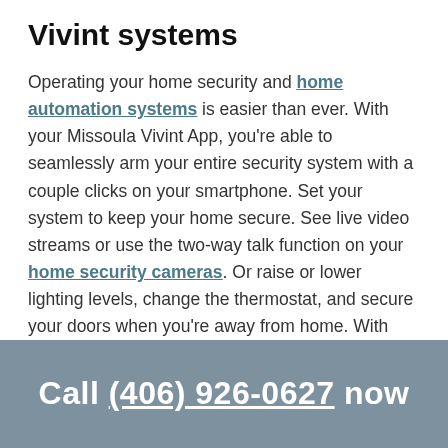Vivint systems
Operating your home security and home automation systems is easier than ever. With your Missoula Vivint App, you're able to seamlessly arm your entire security system with a couple clicks on your smartphone. Set your system to keep your home secure. See live video streams or use the two-way talk function on your home security cameras. Or raise or lower lighting levels, change the thermostat, and secure your doors when you're away from home. With your Missoula mobile app, you have a universal smart home hub that works anywhere you do.
Call (406) 926-0627 now